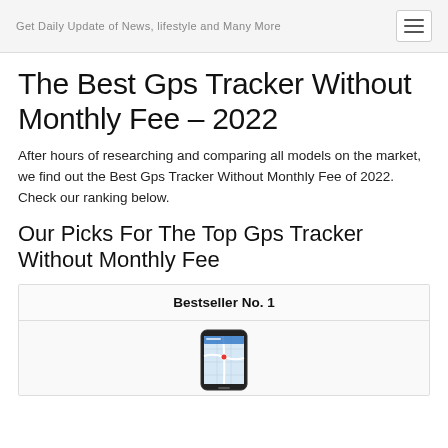Get Daily Update of News, lifestyle and Many More
The Best Gps Tracker Without Monthly Fee – 2022
After hours of researching and comparing all models on the market, we find out the Best Gps Tracker Without Monthly Fee of 2022. Check our ranking below.
Our Picks For The Top Gps Tracker Without Monthly Fee
Bestseller No. 1
[Figure (screenshot): Screenshot of a smartphone displaying a GPS tracking app interface]